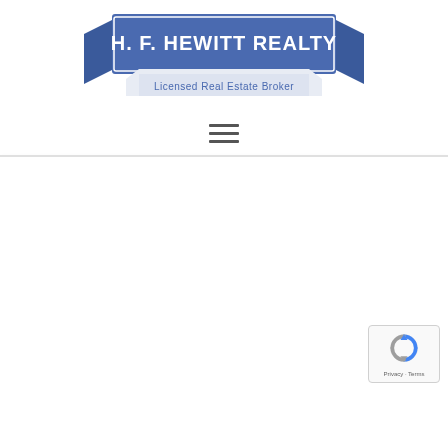[Figure (logo): H. F. Hewitt Realty banner logo with blue ribbon/banner design. Text reads 'H. F. HEWITT REALTY' in white on blue banner, with 'Licensed Real Estate Broker' in a lighter blue sub-banner below.]
[Figure (other): Hamburger menu icon — three horizontal dark grey lines stacked vertically, centered on page.]
[Figure (other): Google reCAPTCHA badge in bottom-right corner. Shows reCAPTCHA logo (circular arrows icon in blue/grey) with text 'Privacy - Terms' below.]